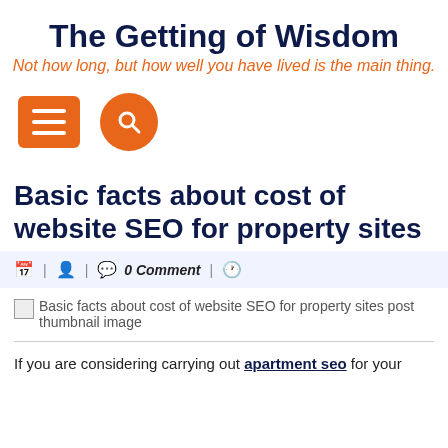The Getting of Wisdom
Not how long, but how well you have lived is the main thing.
[Figure (other): Navigation icons: orange hamburger menu button and orange circular search button]
Basic facts about cost of website SEO for property sites
calendar icon | person icon | comment icon  0 Comment | clock icon
[Figure (other): Broken image placeholder: Basic facts about cost of website SEO for property sites post thumbnail image]
If you are considering carrying out apartment seo for your